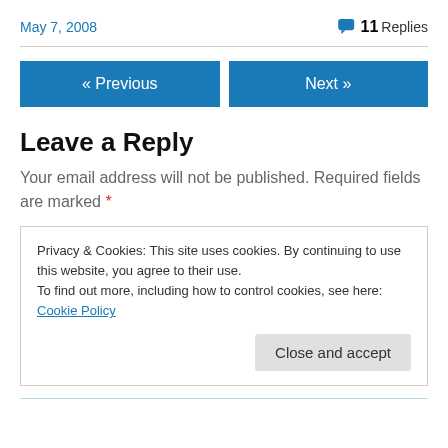May 7, 2008
11 Replies
« Previous
Next »
Leave a Reply
Your email address will not be published. Required fields are marked *
Privacy & Cookies: This site uses cookies. By continuing to use this website, you agree to their use.
To find out more, including how to control cookies, see here: Cookie Policy
Close and accept